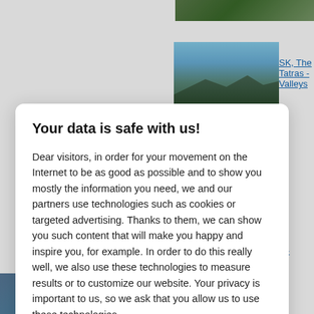[Figure (screenshot): Background webpage with mountain landscape photos and linked text partially visible behind a modal dialog]
Your data is safe with us!
Dear visitors, in order for your movement on the Internet to be as good as possible and to show you mostly the information you need, we and our partners use technologies such as cookies or targeted advertising. Thanks to them, we can show you such content that will make you happy and inspire you, for example. In order to do this really well, we also use these technologies to measure results or to customize our website. Your privacy is important to us, so we ask that you allow us to use these technologies.
Accept
Deny
Set